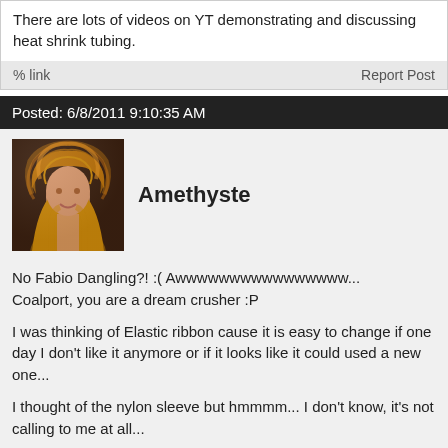There are lots of videos on YT demonstrating and discussing heat shrink tubing.
link   Report Post
Posted: 6/8/2011 9:10:35 AM
Amethyste
[Figure (photo): Avatar photo of user Amethyste showing a person with curly golden/red hair]
No Fabio Dangling?! :( Awwwwwwwwwwwwwwww...
Coalport, you are a dream crusher :P

I was thinking of Elastic ribbon cause it is easy to change if one day I don't like it anymore or if it looks like it could used a new one...

I thought of the nylon sleeve but hmmmm... I don't know, it's not calling to me at all...

I would love to know how to turn my theremin more personnal. I wish there were wraps for wood furnitures (like they have wraps for cars)... I'd have my Theremin wrapped in Sunflowers or daisies... Yeah I know :( Girlie stuff hmmmm?